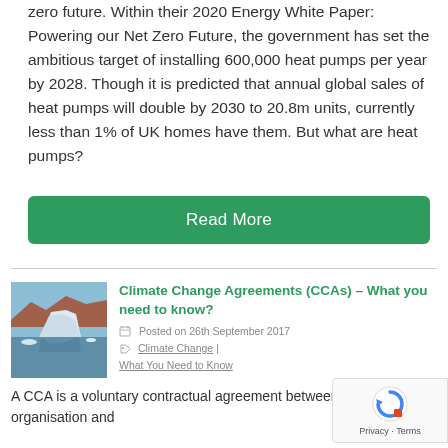zero future. Within their 2020 Energy White Paper: Powering our Net Zero Future, the government has set the ambitious target of installing 600,000 heat pumps per year by 2028. Though it is predicted that annual global sales of heat pumps will double by 2030 to 20.8m units, currently less than 1% of UK homes have them. But what are heat pumps?
Read More
Climate Change Agreements (CCAs) – What you need to know?
Posted on 26th September 2017
Climate Change | What You Need to Know
A CCA is a voluntary contractual agreement between an organisation and
[Figure (photo): Photograph of an iceberg with reddish cliffs in the background and a calm reflective water surface, under a blue sky.]